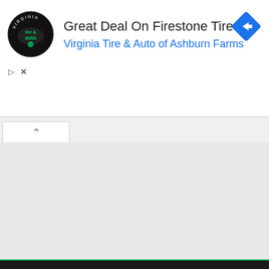[Figure (screenshot): Advertisement banner for Virginia Tire & Auto of Ashburn Farms featuring Firestone Tires deal. Contains circular logo with 'tire & auto' text, ad title, subtitle link, blue diamond navigation icon, play and close controls.]
Great Deal On Firestone Tires
Virginia Tire & Auto of Ashburn Farms
[Figure (screenshot): Browser tab bar showing one active tab with a chevron/up arrow icon, and gray background area below representing main browser content area (empty/gray).]